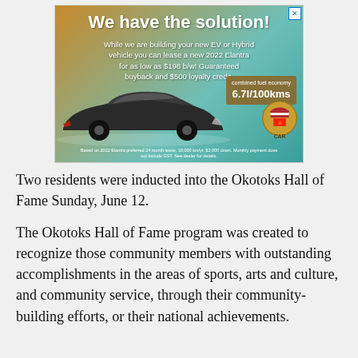[Figure (advertisement): Hyundai car advertisement. Headline: 'We have the solution!' Body: 'While we are building your new EV or Hybrid vehicle you can lease a new 2022 Elantra for as low as $198 b/w! Guaranteed buyback and $500 loyalty credit.' Fuel economy badge: '6.7l/100kms'. Fine print: 'Based on 2022 Elantra preferred 24 month lease, 10,000 km/yr, $2,000 down. Monthly payment does not include GST. See dealer for details.']
Two residents were inducted into the Okotoks Hall of Fame Sunday, June 12.
The Okotoks Hall of Fame program was created to recognize those community members with outstanding accomplishments in the areas of sports, arts and culture, and community service, through their community-building efforts, or their national achievements.